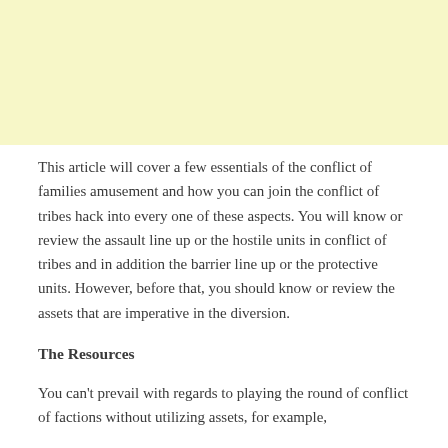[Figure (other): Light yellow background block filling the top portion of the page]
This article will cover a few essentials of the conflict of families amusement and how you can join the conflict of tribes hack into every one of these aspects. You will know or review the assault line up or the hostile units in conflict of tribes and in addition the barrier line up or the protective units. However, before that, you should know or review the assets that are imperative in the diversion.
The Resources
You can't prevail with regards to playing the round of conflict of factions without utilizing assets, for example,